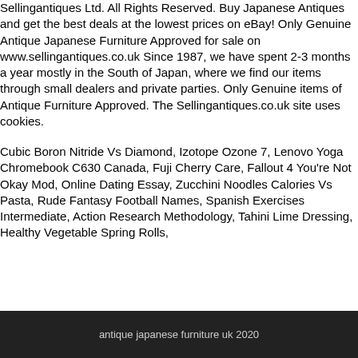Sellingantiques Ltd. All Rights Reserved. Buy Japanese Antiques and get the best deals at the lowest prices on eBay! Only Genuine Antique Japanese Furniture Approved for sale on www.sellingantiques.co.uk Since 1987, we have spent 2-3 months a year mostly in the South of Japan, where we find our items through small dealers and private parties. Only Genuine items of Antique Furniture Approved. The Sellingantiques.co.uk site uses cookies.
Cubic Boron Nitride Vs Diamond, Izotope Ozone 7, Lenovo Yoga Chromebook C630 Canada, Fuji Cherry Care, Fallout 4 You're Not Okay Mod, Online Dating Essay, Zucchini Noodles Calories Vs Pasta, Rude Fantasy Football Names, Spanish Exercises Intermediate, Action Research Methodology, Tahini Lime Dressing, Healthy Vegetable Spring Rolls,
antique japanese furniture uk 2020